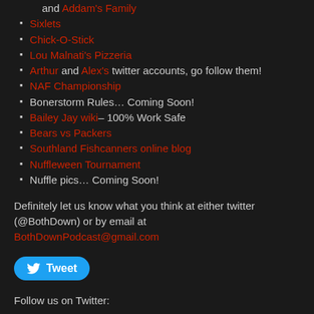and Addam's Family
Sixlets
Chick-O-Stick
Lou Malnati's Pizzeria
Arthur and Alex's twitter accounts, go follow them!
NAF Championship
Bonerstorm Rules… Coming Soon!
Bailey Jay wiki– 100% Work Safe
Bears vs Packers
Southland Fishcanners online blog
Nuffleween Tournament
Nuffle pics… Coming Soon!
Definitely let us know what you think at either twitter (@BothDown) or by email at BothDownPodcast@gmail.com
[Figure (other): Tweet button with Twitter bird icon]
Follow us on Twitter: